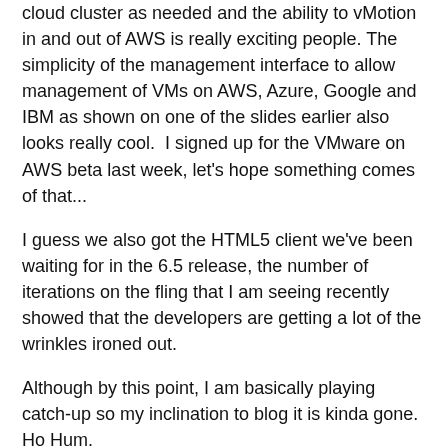cloud cluster as needed and the ability to vMotion in and out of AWS is really exciting people. The simplicity of the management interface to allow management of VMs on AWS, Azure, Google and IBM as shown on one of the slides earlier also looks really cool.  I signed up for the VMware on AWS beta last week, let's hope something comes of that...
I guess we also got the HTML5 client we've been waiting for in the 6.5 release, the number of iterations on the fling that I am seeing recently showed that the developers are getting a lot of the wrinkles ironed out.
Although by this point, I am basically playing catch-up so my inclination to blog it is kinda gone. Ho Hum.
VMWARE  VMWORLD
[Figure (photo): Author headshot photo, partially visible at bottom of page]